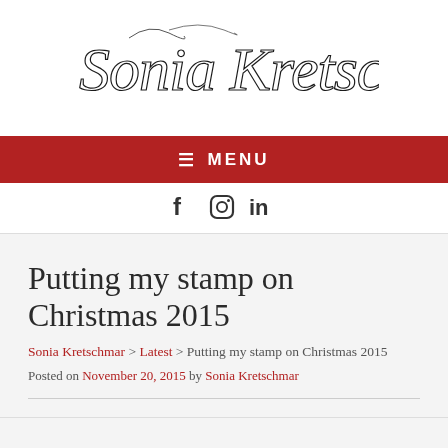[Figure (logo): Sonia Kretschmar cursive/calligraphy logo in black ink style]
≡ MENU
f  in
Putting my stamp on Christmas 2015
Sonia Kretschmar > Latest > Putting my stamp on Christmas 2015
Posted on November 20, 2015 by Sonia Kretschmar